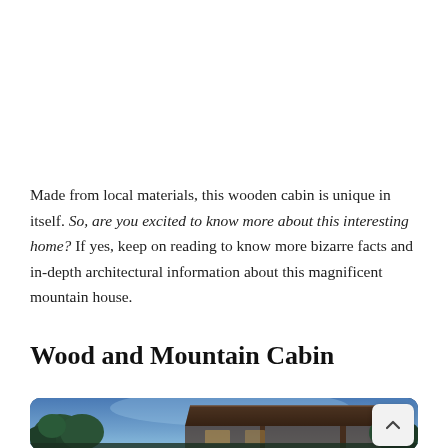Made from local materials, this wooden cabin is unique in itself. So, are you excited to know more about this interesting home? If yes, keep on reading to know more bizarre facts and in-depth architectural information about this magnificent mountain house.
Wood and Mountain Cabin
[Figure (photo): Exterior photo of a wooden mountain cabin at dusk with a large overhanging roof, surrounded by tropical trees against a blue sky]